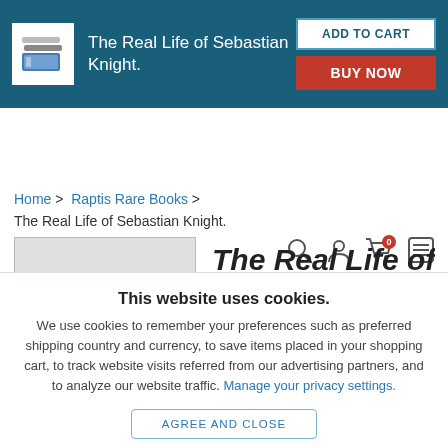[Figure (screenshot): Top banner with book icon, title 'The Real Life of Sebastian Knight.', ADD TO CART button, and BUY NOW button on dark teal background]
[Figure (logo): BIBLIO.co.uk logo with navigation icons: search, user, cart (0), menu]
Home > Raptis Rare Books > The Real Life of Sebastian Knight.
[Figure (screenshot): Partial view of book listing page with book cover image and title beginning 'The Real Life of']
This website uses cookies.
We use cookies to remember your preferences such as preferred shipping country and currency, to save items placed in your shopping cart, to track website visits referred from our advertising partners, and to analyze our website traffic. Manage your privacy settings.
AGREE AND CLOSE